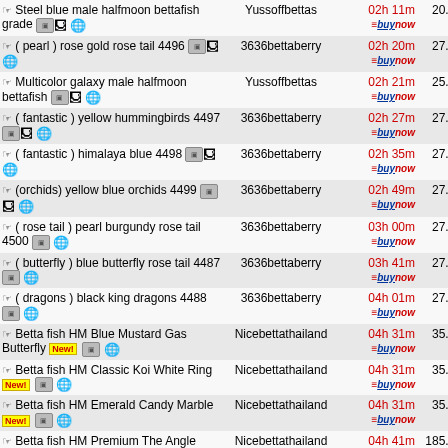| Item | Seller | Time | Price |
| --- | --- | --- | --- |
| Steel blue male halfmoon bettafish grade [cam][chess][globe] | Yussoffbettas | 02h 11m =buynow | 20.00 R |
| ( pearl ) rose gold rose tail 4496 [cam][chess][globe] | 3636bettaberry | 02h 20m =buynow | 27.00 R |
| Multicolor galaxy male halfmoon bettafish [cam][chess][globe] | Yussoffbettas | 02h 21m =buynow | 25.00 R |
| ( fantastic ) yellow hummingbirds 4497 [cam][chess][globe] | 3636bettaberry | 02h 27m =buynow | 27.00 R |
| ( fantastic ) himalaya blue 4498 [cam][chess][globe] | 3636bettaberry | 02h 35m =buynow | 27.00 R |
| (orchids) yellow blue orchids 4499 [cam][chess][globe] | 3636bettaberry | 02h 49m =buynow | 27.00 R |
| ( rose tail ) pearl burgundy rose tail 4500 [cam][globe] | 3636bettaberry | 03h 00m =buynow | 27.00 R |
| ( butterfly ) blue butterfly rose tail 4487 [cam][globe] | 3636bettaberry | 03h 41m =buynow | 27.00 R |
| ( dragons ) black king dragons 4488 [cam][globe] | 3636bettaberry | 04h 01m =buynow | 27.00 R |
| Betta fish HM Blue Mustard Gas Butterfly New! [cam][globe] | Nicebettathailand | 04h 31m =buynow | 35.00 R |
| Betta fish HM Classic Koi White Ring New! [cam][globe] | Nicebettathailand | 04h 31m =buynow | 35.00 R |
| Betta fish HM Emerald Candy Marble New! [cam][globe] | Nicebettathailand | 04h 31m =buynow | 35.00 R |
| Betta fish HM Premium The Angle Copper Galaxy ... | Nicebettathailand | 04h 41m =buynow | 185.00 R |